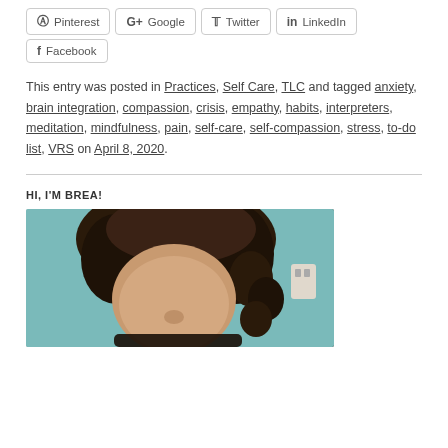Pinterest
G+ Google
Twitter
LinkedIn
Facebook
This entry was posted in Practices, Self Care, TLC and tagged anxiety, brain integration, compassion, crisis, empathy, habits, interpreters, meditation, mindfulness, pain, self-care, self-compassion, stress, to-do list, VRS on April 8, 2020.
HI, I'M BREA!
[Figure (photo): Photo of Brea, a woman with curly dark hair and glasses, against a teal background]